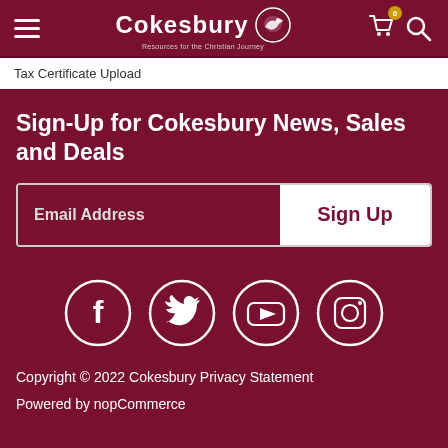Cokesbury — Resources for the Christian Journey
Tax Certificate Upload
Sign-Up for Cokesbury News, Sales and Deals
Email Address
Sign Up
[Figure (other): Social media icons for Facebook, Twitter, YouTube, and Instagram displayed as white outlined circles on dark red background]
Copyright © 2022 Cokesbury Privacy Statement
Powered by nopCommerce